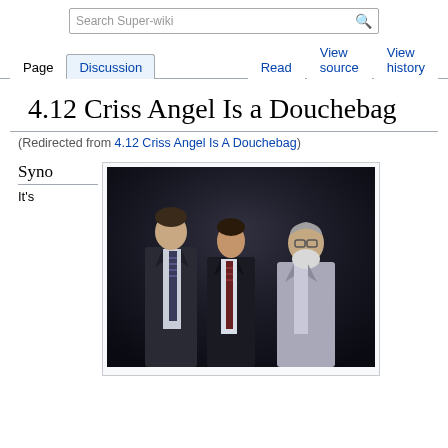Search Super-wiki
Page | Discussion | Read | View source | View history
4.12 Criss Angel Is a Douchebag
(Redirected from 4.12 Criss Angel Is A Douchebag)
Syno
It's
[Figure (photo): Three men in suits standing together: a tall man on the left in a dark suit with striped tie, a man in the center in a white shirt with dark tie and dark jacket, and an older man on the right with a white beard in a light grey suit.]